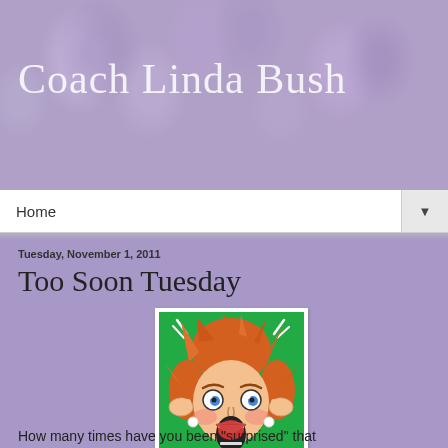Coach Linda Bush
Home
Tuesday, November 1, 2011
Too Soon Tuesday
[Figure (illustration): Comic-style illustration of a shocked woman with wild red hair, wide eyes, and open mouth, hands on head against green background]
How many times have you been "surprised" that